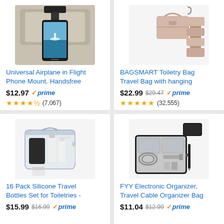[Figure (photo): Phone attached to airplane seat headrest with a clip mount, showing a travel photo on screen]
Universal Airplane in Flight Phone Mount. Handsfree
$12.97 prime ★★★★½ (7,067)
[Figure (photo): Pink toiletry bag shown as handbag and unfolded hanging organizer with multiple compartments]
BAGSMART Toiletry Bag Travel Bag with hanging
$22.99 $29.47 prime ★★★★★ (32,555)
[Figure (photo): Clear silicone travel bottles set with spray bottles, jars and pouches in a transparent bag]
16 Pack Silicone Travel Bottles Set for Toiletries -
$15.99 $16.99 prime
[Figure (photo): Black electronic organizer travel cable bag open showing compartments with cables and accessories]
FYY Electronic Organizer, Travel Cable Organizer Bag
$11.04 $12.99 prime